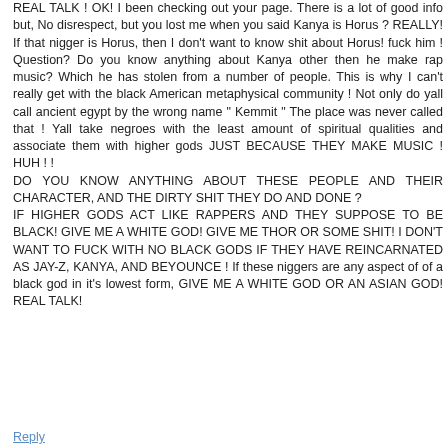REAL TALK ! OK! I been checking out your page. There is a lot of good info but, No disrespect, but you lost me when you said Kanya is Horus ? REALLY! If that nigger is Horus, then I don't want to know shit about Horus! fuck him ! Question? Do you know anything about Kanya other then he make rap music? Which he has stolen from a number of people. This is why I can't really get with the black American metaphysical community ! Not only do yall call ancient egypt by the wrong name " Kemmit " The place was never called that ! Yall take negroes with the least amount of spiritual qualities and associate them with higher gods JUST BECAUSE THEY MAKE MUSIC ! HUH ! !
DO YOU KNOW ANYTHING ABOUT THESE PEOPLE AND THEIR CHARACTER, AND THE DIRTY SHIT THEY DO AND DONE ?
IF HIGHER GODS ACT LIKE RAPPERS AND THEY SUPPOSE TO BE BLACK! GIVE ME A WHITE GOD! GIVE ME THOR OR SOME SHIT! I DON'T WANT TO FUCK WITH NO BLACK GODS IF THEY HAVE REINCARNATED AS JAY-Z, KANYA, AND BEYOUNCE ! If these niggers are any aspect of of a black god in it's lowest form, GIVE ME A WHITE GOD OR AN ASIAN GOD! REAL TALK!
Reply